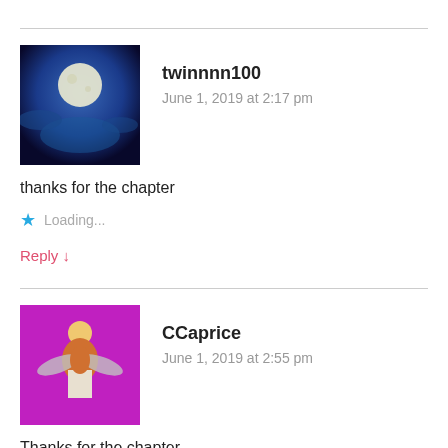twinnnn100
June 1, 2019 at 2:17 pm
thanks for the chapter
Loading...
Reply ↓
CCaprice
June 1, 2019 at 2:55 pm
Thanks for the chapter.
Loading...